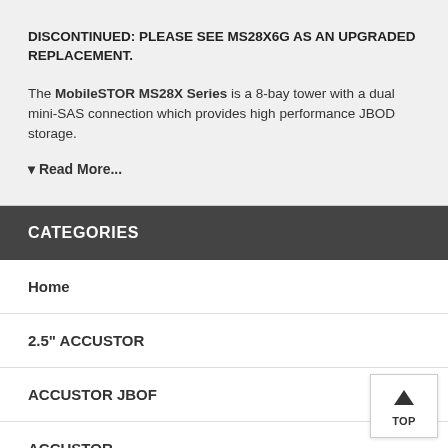DISCONTINUED: PLEASE SEE MS28X6G AS AN UPGRADED REPLACEMENT.
The MobileSTOR MS28X Series is a 8-bay tower with a dual mini-SAS connection which provides high performance JBOD storage.
▼ Read More...
CATEGORIES
Home
2.5" ACCUSTOR
ACCUSTOR JBOF
ACCUSTOR